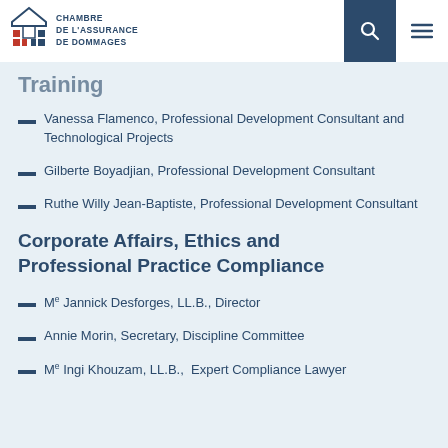Chambre de l'assurance de dommages
Training
Vanessa Flamenco, Professional Development Consultant and Technological Projects
Gilberte Boyadjian, Professional Development Consultant
Ruthe Willy Jean-Baptiste, Professional Development Consultant
Corporate Affairs, Ethics and Professional Practice Compliance
Me Jannick Desforges, LL.B., Director
Annie Morin, Secretary, Discipline Committee
Me Ingi Khouzam, LL.B., Expert Compliance Lawyer